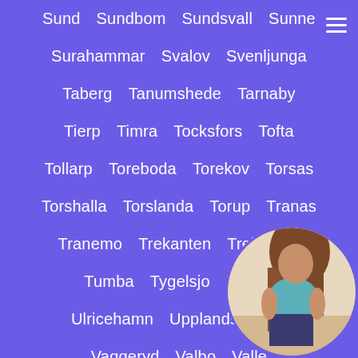Sund, Sundbom, Sundsvall, Sunne
Surahammar, Svalov, Svenljunga
Taberg, Tanumshede, Tarnaby
Tierp, Timra, Tocksfors, Tofta
Tollarp, Toreboda, Torekov, Torsas
Torshalla, Torslanda, Torup, Tranas
Tranemo, Trekanten, Trelleborg
Tumba, Tygelsjo, Udden
Ulricehamn, Upplands Vasby
Vaggeryd, Valbo, Valle...
Vanersborg, Vannas, Vargar...
[Figure (photo): Circular photo of a woman in teal top and denim shorts, positioned in bottom-right corner]